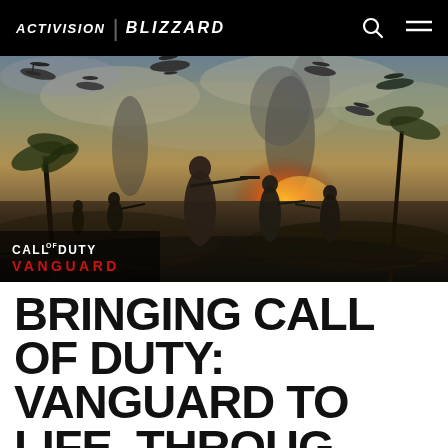ACTIVISION | BLIZZARD
[Figure (illustration): Call of Duty: Vanguard game art showing soldiers running on a battlefield with aircraft overhead, palm trees, explosions and smoke. The Call of Duty Vanguard logo appears in the lower left of the image.]
BRINGING CALL OF DUTY: VANGUARD TO LIFE, THROUGH